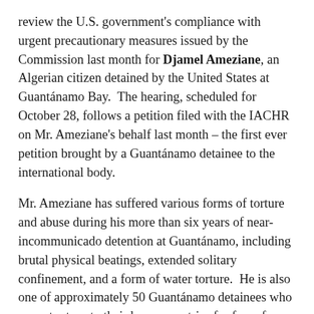review the U.S. government's compliance with urgent precautionary measures issued by the Commission last month for Djamel Ameziane, an Algerian citizen detained by the United States at Guantánamo Bay.  The hearing, scheduled for October 28, follows a petition filed with the IACHR on Mr. Ameziane's behalf last month – the first ever petition brought by a Guantánamo detainee to the international body.
Mr. Ameziane has suffered various forms of torture and abuse during his more than six years of near-incommunicado detention at Guantánamo, including brutal physical beatings, extended solitary confinement, and a form of water torture.  He is also one of approximately 50 Guantánamo detainees who cannot return to their home countries for fear of persecution or torture and need third countries to offer them protection in order to leave Guantanamo safely.  Mr. Ameziane is currently seeking resettlement in Canada, where he resided for five years prior